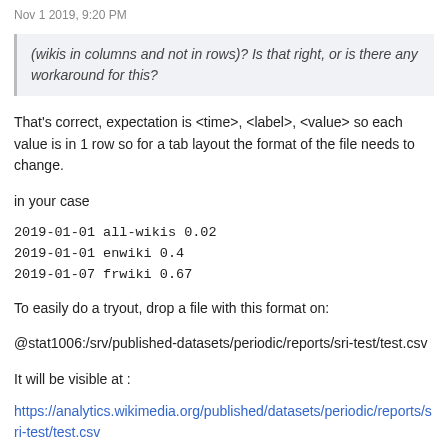Nov 1 2019, 9:20 PM
(wikis in columns and not in rows)? Is that right, or is there any workaround for this?
That's correct, expectation is <time>, <label>, <value> so each value is in 1 row so for a tab layout the format of the file needs to change.
in your case
2019-01-01 all-wikis 0.02
2019-01-01 enwiki 0.4
2019-01-07 frwiki 0.67
To easily do a tryout, drop a file with this format on:
@stat1006:/srv/published-datasets/periodic/reports/sri-test/test.csv
It will be visible at :
https://analytics.wikimedia.org/published/datasets/periodic/reports/sri-test/test.csv